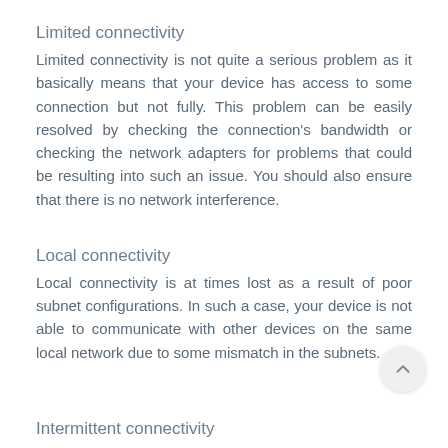Limited connectivity
Limited connectivity is not quite a serious problem as it basically means that your device has access to some connection but not fully. This problem can be easily resolved by checking the connection's bandwidth or checking the network adapters for problems that could be resulting into such an issue. You should also ensure that there is no network interference.
Local connectivity
Local connectivity is at times lost as a result of poor subnet configurations. In such a case, your device is not able to communicate with other devices on the same local network due to some mismatch in the subnets.
Intermittent connectivity